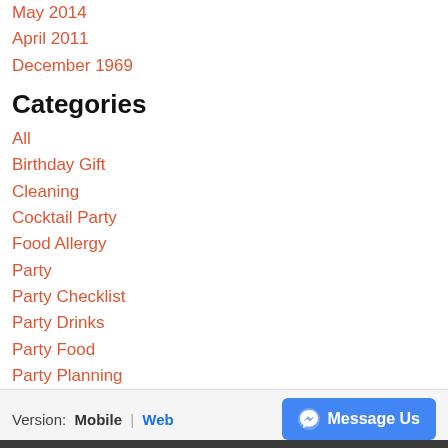May 2014
April 2011
December 1969
Categories
All
Birthday Gift
Cleaning
Cocktail Party
Food Allergy
Party
Party Checklist
Party Drinks
Party Food
Party Planning
Party Themes
Themed Parties
RSS Feed
Version: Mobile | Web